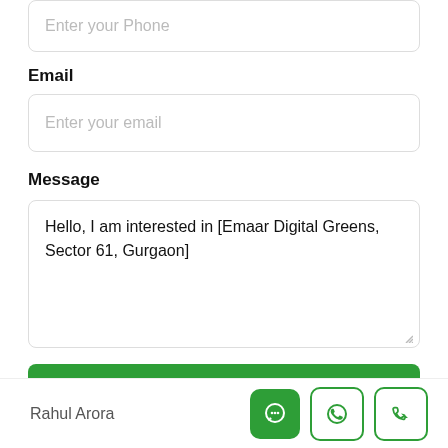Enter your Phone
Email
Enter your email
Message
Hello, I am interested in [Emaar Digital Greens, Sector 61, Gurgaon]
Request Information
Rahul Arora